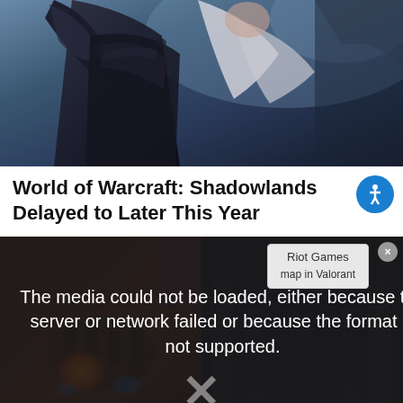[Figure (screenshot): World of Warcraft Shadowlands character artwork — a dark armored figure with white hair holding a large weapon, against a blue-grey fantasy background]
World of Warcraft: Shadowlands Delayed to Later This Year
[Figure (screenshot): Video player showing media error overlay: 'The media could not be loaded, either because the server or network failed or because the format is not supported.' Over a dark fantasy game screenshot. An ad tooltip shows 'Riot Games' and 'map in Valorant'. A close button and X mark are visible.]